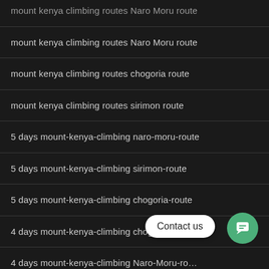mount kenya climbing routes Naro Moru route
mount kenya climbing routes Naro Moru route
mount kenya climbing routes chogoria route
mount kenya climbing routes sirimon route
5 days mount-kenya-climbing naro-moru-route
5 days mount-kenya-climbing sirimon-route
5 days mount-kenya-climbing chogoria-route
4 days mount-kenya-climbing chogoria-route
4 days mount-kenya-climbing Naro-Moru-ro...